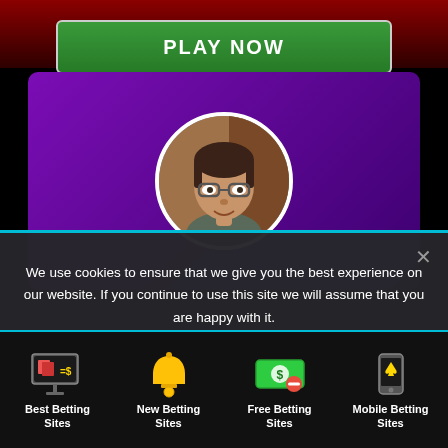[Figure (screenshot): Green PLAY NOW button on dark red gradient background]
[Figure (photo): Purple card with circular avatar photo of a man with glasses]
We use cookies to ensure that we give you the best experience on our website. If you continue to use this site we will assume that you are happy with it.
[Figure (screenshot): Ok button for cookie consent]
[Figure (infographic): Footer with four icons: Best Betting Sites, New Betting Sites, Free Betting Sites, Mobile Betting Sites]